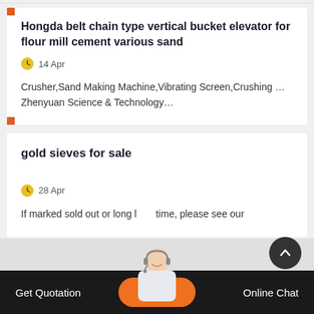Hongda belt chain type vertical bucket elevator for flour mill cement various sand
14 Apr
Crusher,Sand Making Machine,Vibrating Screen,Crushing … Zhenyuan Science & Technology…
gold sieves for sale
28 Apr
If marked sold out or long lead time, please see our
Get Quotation    Online Chat